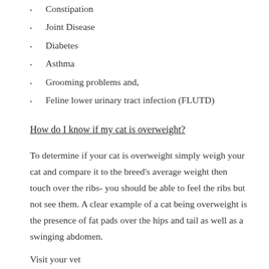Constipation
Joint Disease
Diabetes
Asthma
Grooming problems and,
Feline lower urinary tract infection (FLUTD)
How do I know if my cat is overweight?
To determine if your cat is overweight simply weigh your cat and compare it to the breed's average weight then touch over the ribs- you should be able to feel the ribs but not see them. A clear example of a cat being overweight is the presence of fat pads over the hips and tail as well as a swinging abdomen.
Visit your vet